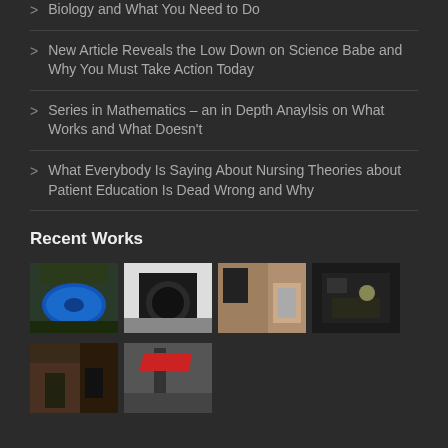Biology and What You Need to Do
New Article Reveals the Low Down on Science Babe and Why You Must Take Action Today
Series in Mathematics – an in Depth Anaylsis on What Works and What Doesn't
What Everybody Is Saying About Nursing Theories about Patient Education Is Dead Wrong and Why
Recent Works
[Figure (photo): Blue cylindrical object on ground]
[Figure (photo): Dark industrial machinery]
[Figure (photo): Interior room with objects on shelves]
[Figure (photo): Dimly lit room with equipment]
[Figure (photo): Warm interior scene]
[Figure (photo): Outdoor scene with red flag or cloth]